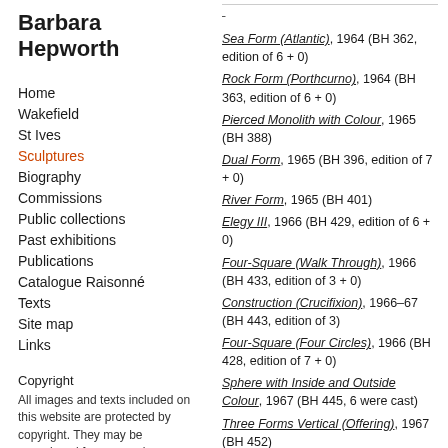Barbara Hepworth
Home
Wakefield
St Ives
Sculptures
Biography
Commissions
Public collections
Past exhibitions
Publications
Catalogue Raisonné
Texts
Site map
Links
Copyright
All images and texts included on this website are protected by copyright. They may be reproduced for personal or educational use only.
Sea Form (Atlantic), 1964 (BH 362, edition of 6 + 0)
Rock Form (Porthcurno), 1964 (BH 363, edition of 6 + 0)
Pierced Monolith with Colour, 1965 (BH 388)
Dual Form, 1965 (BH 396, edition of 7 + 0)
River Form, 1965 (BH 401)
Elegy III, 1966 (BH 429, edition of 6 + 0)
Four-Square (Walk Through), 1966 (BH 433, edition of 3 + 0)
Construction (Crucifixion), 1966–67 (BH 443, edition of 3)
Four-Square (Four Circles), 1966 (BH 428, edition of 7 + 0)
Sphere with Inside and Outside Colour, 1967 (BH 445, 6 were cast)
Three Forms Vertical (Offering), 1967 (BH 452)
Moon Form, 1968 (BH 456)
Two Figures, 1968 (BH 460, edition of 7 + 0)
Four Figures Waiting, 1968 (BH 461, edition of 8 + 0)